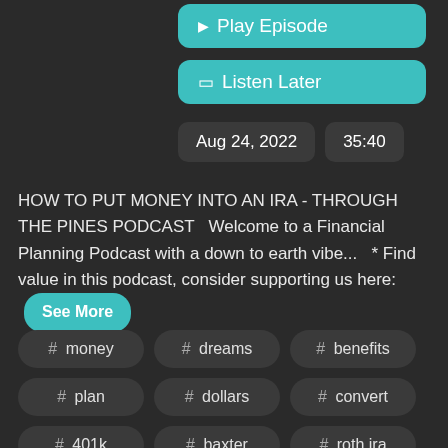[Figure (screenshot): Teal Play Episode button with play triangle icon]
[Figure (screenshot): Teal Listen Later button with bookmark icon]
Aug 24, 2022    35:40
HOW TO PUT MONEY INTO AN IRA - THROUGH THE PINES PODCAST   Welcome to a Financial Planning Podcast with a down to earth vibe...   * Find value in this podcast, consider supporting us here:
See More
# money
# dreams
# benefits
# plan
# dollars
# convert
# 401k
# baxter
# roth ira